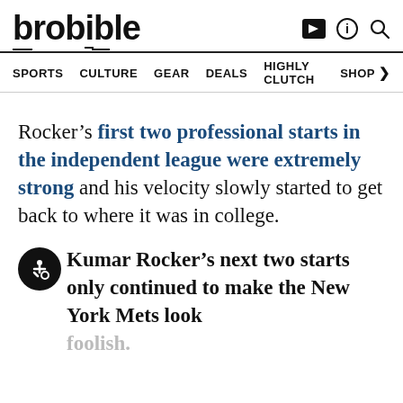brobible
SPORTS  CULTURE  GEAR  DEALS  HIGHLY CLUTCH  SHOP >
Rocker’s first two professional starts in the independent league were extremely strong and his velocity slowly started to get back to where it was in college.
Kumar Rocker’s next two starts only continued to make the New York Mets look foolish.